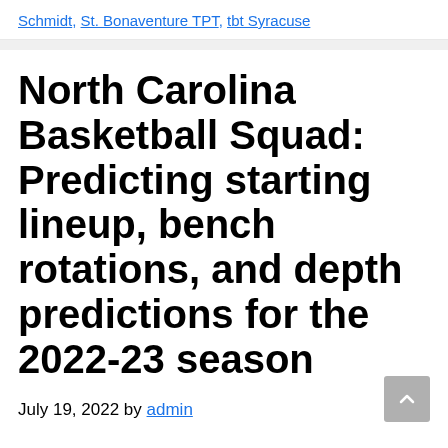Schmidt, St. Bonaventure TPT, tbt Syracuse
North Carolina Basketball Squad: Predicting starting lineup, bench rotations, and depth predictions for the 2022-23 season
July 19, 2022 by admin